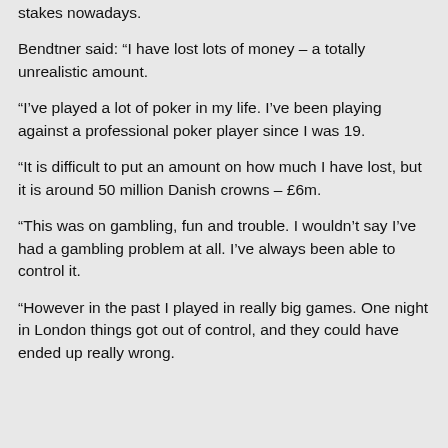stakes nowadays.
Bendtner said: “I have lost lots of money – a totally unrealistic amount.
“I’ve played a lot of poker in my life. I’ve been playing against a professional poker player since I was 19.
“It is difficult to put an amount on how much I have lost, but it is around 50 million Danish crowns – £6m.
“This was on gambling, fun and trouble. I wouldn’t say I’ve had a gambling problem at all. I’ve always been able to control it.
“However in the past I played in really big games. One night in London things got out of control, and they could have ended up really wrong.